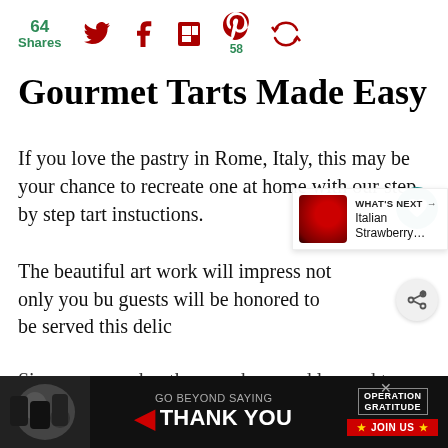64 Shares | Social share icons: Twitter, Facebook, Flipboard, Pinterest (58), recirculation
Gourmet Tarts Made Easy
If you love the pastry in Rome, Italy, this may be your chance to recreate one at home with our step by step tart instuctions.
The beautiful art work will impress not only you bu guests will be honored to be served this delic
Since my grandmother was born and learned to cook there, she so m't
[Figure (infographic): WHAT'S NEXT overlay with red berry/strawberry image and text: Italian Strawberry...]
[Figure (infographic): Advertisement banner: GO BEYOND SAYING THANK YOU - Operation Gratitude - JOIN US]